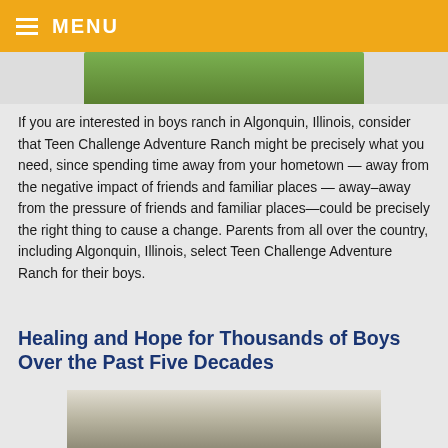≡ MENU
[Figure (photo): Partial top image strip showing green outdoor scene, cropped at top of page]
If you are interested in boys ranch in Algonquin, Illinois, consider that Teen Challenge Adventure Ranch might be precisely what you need, since spending time away from your hometown — away from the negative impact of friends and familiar places — away–away from the pressure of friends and familiar places—could be precisely the right thing to cause a change. Parents from all over the country, including Algonquin, Illinois, select Teen Challenge Adventure Ranch for their boys.
Healing and Hope for Thousands of Boys Over the Past Five Decades
[Figure (photo): Partial bottom image showing a building with a person, cropped at bottom of page]